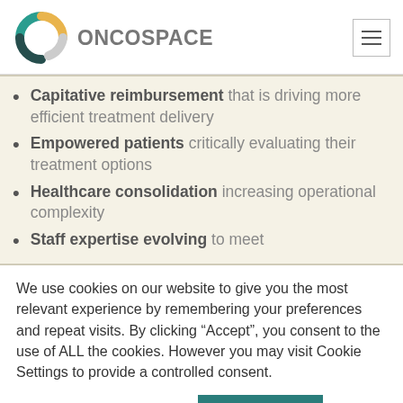[Figure (logo): Oncospace logo with teal and yellow circular icon and grey text 'ONCOSPACE']
Capitative reimbursement that is driving more efficient treatment delivery
Empowered patients critically evaluating their treatment options
Healthcare consolidation increasing operational complexity
Staff expertise evolving to meet
We use cookies on our website to give you the most relevant experience by remembering your preferences and repeat visits. By clicking “Accept”, you consent to the use of ALL the cookies. However you may visit Cookie Settings to provide a controlled consent.
Cookie settings | ACCEPT